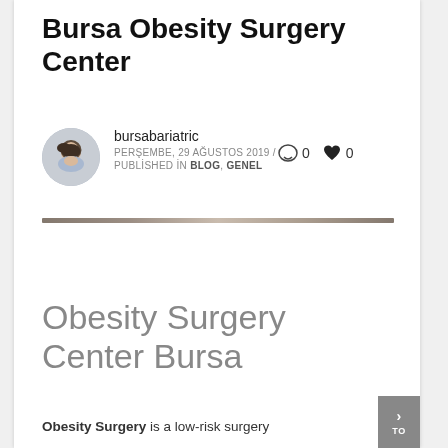Bursa Obesity Surgery Center
bursabariatric
PERŞEMBE, 29 AĞUSTOS 2019 / PUBLISHED IN BLOG, GENEL
💬 0  ♥ 0
[Figure (illustration): Circular avatar image of a woman with dark hair wearing a light blue top]
Obesity Surgery Center Bursa
Obesity Surgery is a low-risk surgery